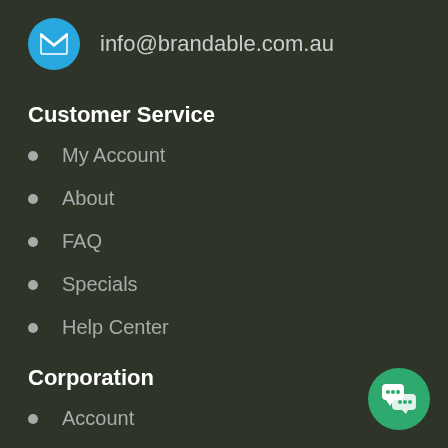info@brandable.com.au
Customer Service
My Account
About
FAQ
Specials
Help Center
Corporation
Account
Blog
Company
Advanced Search